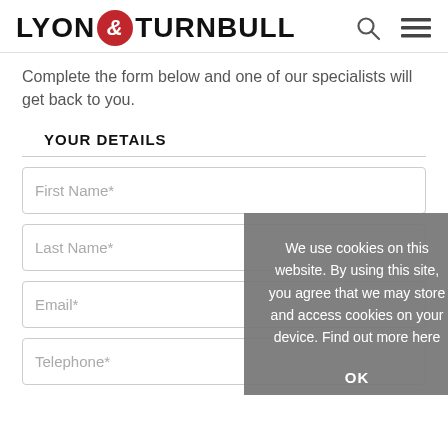LYON & TURNBULL
Complete the form below and one of our specialists will get back to you.
YOUR DETAILS
First Name*
Last Name*
Email*
Telephone*
We use cookies on this website. By using this site, you agree that we may store and access cookies on your device. Find out more here
OK